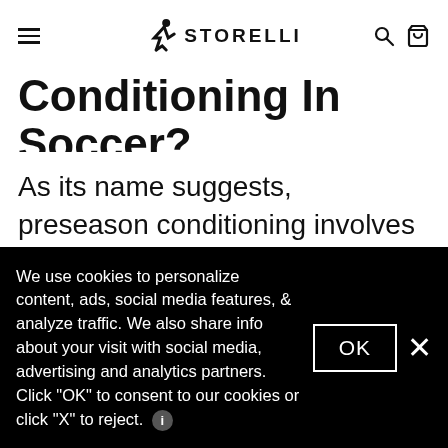Storelli — navigation bar with hamburger menu, logo, search and cart icons
Conditioning In Soccer?
As its name suggests, preseason conditioning involves improving physical fitness before a season starts. Coaches will often enroll their players in fitness programs that last a few weeks to prepare for the looming regular season.
We use cookies to personalize content, ads, social media features, & analyze traffic. We also share info about your visit with social media, advertising and analytics partners. Click "OK" to consent to our cookies or click "X" to reject.